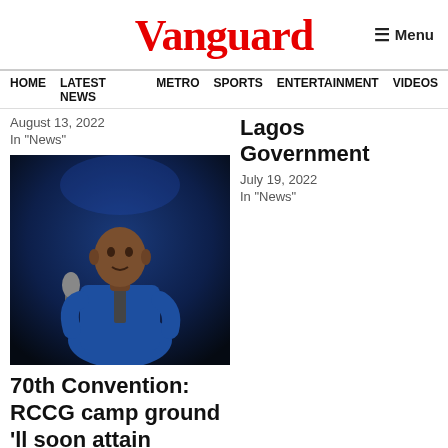Vanguard
≡ Menu
HOME  LATEST NEWS  METRO  SPORTS  ENTERTAINMENT  VIDEOS
August 13, 2022
In "News"
Lagos Government
July 19, 2022
In "News"
[Figure (photo): Man in blue suit speaking into a microphone on a dark stage]
70th Convention: RCCG camp ground 'll soon attain Vatican City Status – Adeboye
August 9, 2022
In "Worship"